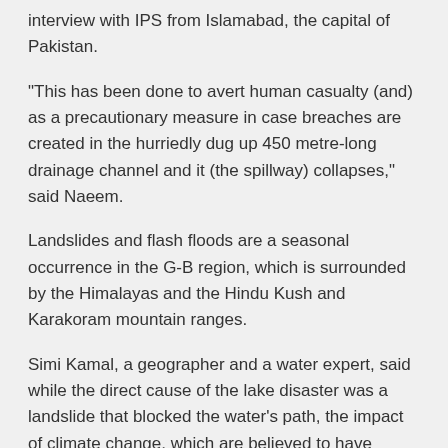interview with IPS from Islamabad, the capital of Pakistan.
“This has been done to avert human casualty (and) as a precautionary measure in case breaches are created in the hurriedly dug up 450 metre-long drainage channel and it (the spillway) collapses,” said Naeem.
Landslides and flash floods are a seasonal occurrence in the G-B region, which is surrounded by the Himalayas and the Hindu Kush and Karakoram mountain ranges.
Simi Kamal, a geographer and a water expert, said while the direct cause of the lake disaster was a landslide that blocked the water’s path, the impact of climate change, which are believed to have triggered extreme weather conditions, could not be ruled out.